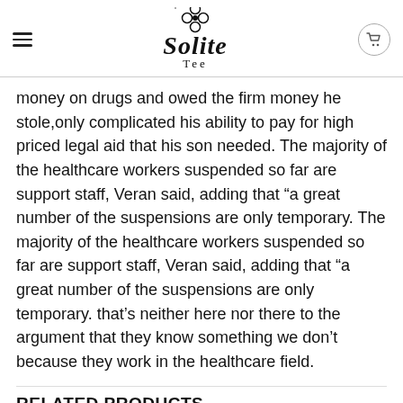Solite Tee (logo header with hamburger menu and cart icon)
money on drugs and owed the firm money he stole,only complicated his ability to pay for high priced legal aid that his son needed. The majority of the healthcare workers suspended so far are support staff, Veran said, adding that “a great number of the suspensions are only temporary. The majority of the healthcare workers suspended so far are support staff, Veran said, adding that “a great number of the suspensions are only temporary. that’s neither here nor there to the argument that they know something we don’t because they work in the healthcare field.
RELATED PRODUCTS
[Figure (photo): Photo of a person in a black shirt looking downward, left product thumbnail]
[Figure (photo): Photo of a person in a black shirt looking downward, right product thumbnail]